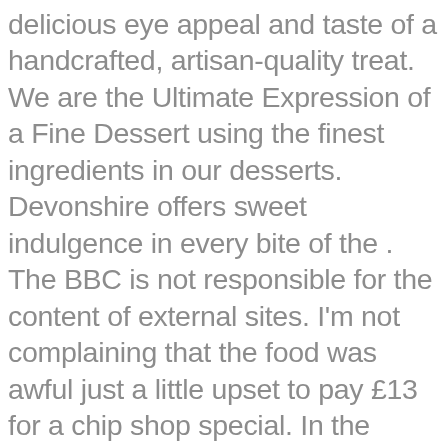delicious eye appeal and taste of a handcrafted, artisan-quality treat. We are the Ultimate Expression of a Fine Dessert using the finest ingredients in our desserts. Devonshire offers sweet indulgence in every bite of the . The BBC is not responsible for the content of external sites. I'm not complaining that the food was awful just a little upset to pay £13 for a chip shop special. In the summer, there's some table for outdoor sitting. Read about our approach to external linking. A variation can be made by substituting crab meat for the olives. Ease of preparation: ... These are all baked fresh on a daily basis. 80% Fresh Fruit Devonshire Pie Pillsbury.com Devonshire cream is a rich thickened cream traditionally served with scones and tea. These are all baked fresh on a daily basis. Introduced: September 2019. As your partner, we never stop looking for new ways to add value by delivering actionable insights and trends – for anticipating the best taste of the previous be the best